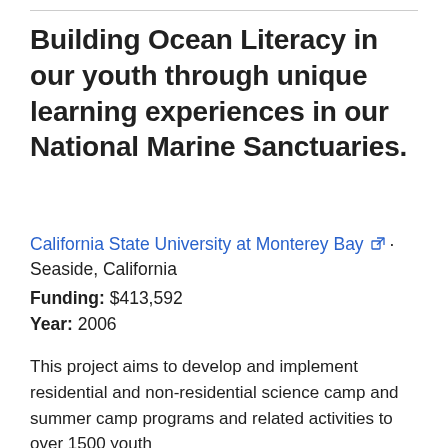Building Ocean Literacy in our youth through unique learning experiences in our National Marine Sanctuaries.
California State University at Monterey Bay [external link] · Seaside, California
Funding: $413,592
Year: 2006
This project aims to develop and implement residential and non-residential science camp and summer camp programs and related activities to over 1500 youth